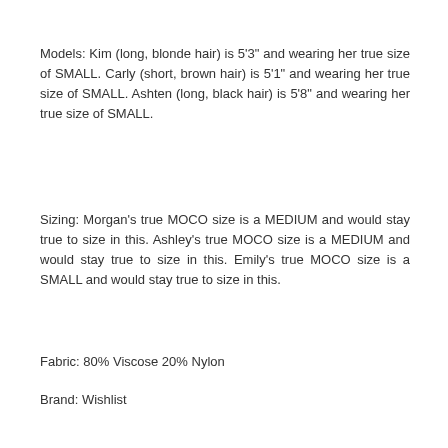Models: Kim (long, blonde hair) is 5'3" and wearing her true size of SMALL. Carly (short, brown hair) is 5'1" and wearing her true size of SMALL. Ashten (long, black hair) is 5'8" and wearing her true size of SMALL.
Sizing: Morgan's true MOCO size is a MEDIUM and would stay true to size in this. Ashley's true MOCO size is a MEDIUM and would stay true to size in this. Emily's true MOCO size is a SMALL and would stay true to size in this.
Fabric: 80% Viscose 20% Nylon
Brand: Wishlist